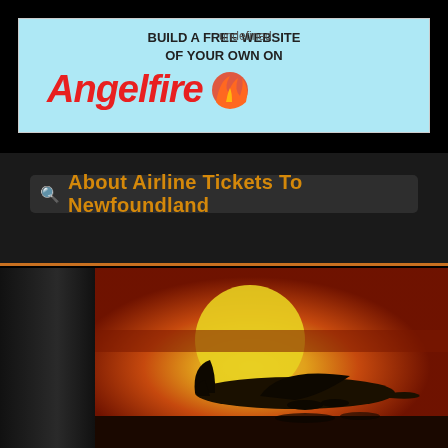[Figure (screenshot): Angelfire banner advertisement with light blue background. Text reads 'BUILD A FREE WEBSITE OF YOUR OWN ON Angelfire' with flame logo. 'undefined' text label in top area.]
About Airline Tickets To Newfoundland
[Figure (photo): Airplane silhouette taking off against a dramatic orange/red sunset sky with large sun in background.]